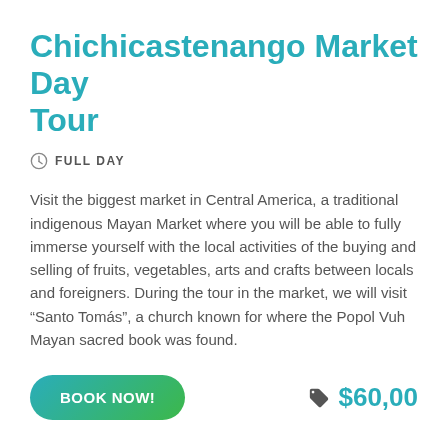Chichicastenango Market Day Tour
FULL DAY
Visit the biggest market in Central America, a traditional indigenous Mayan Market where you will be able to fully immerse yourself with the local activities of the buying and selling of fruits, vegetables, arts and crafts between locals and foreigners. During the tour in the market, we will visit “Santo Tomás”, a church known for where the Popol Vuh Mayan sacred book was found.
BOOK NOW! $60,00